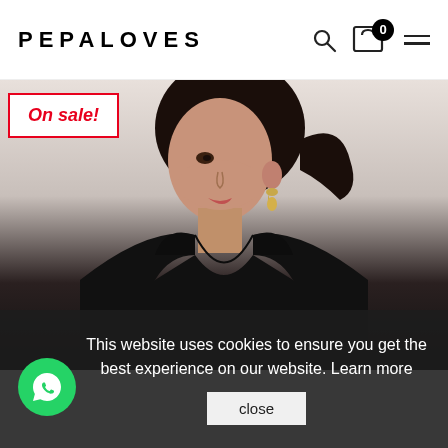PEPALOVES
[Figure (photo): Woman wearing a black sleeveless V-neck top, shown from shoulders up, with dark hair pulled back and gold earrings, on a light background fading to dark.]
On sale!
This website uses cookies to ensure you get the best experience on our website. Learn more
close